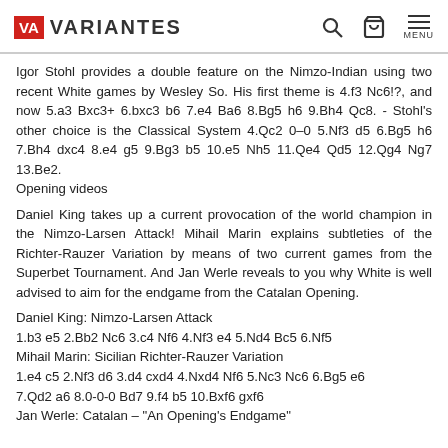VARIANTES
Igor Stohl provides a double feature on the Nimzo-Indian using two recent White games by Wesley So. His first theme is 4.f3 Nc6!?, and now 5.a3 Bxc3+ 6.bxc3 b6 7.e4 Ba6 8.Bg5 h6 9.Bh4 Qc8. - Stohl's other choice is the Classical System 4.Qc2 0–0 5.Nf3 d5 6.Bg5 h6 7.Bh4 dxc4 8.e4 g5 9.Bg3 b5 10.e5 Nh5 11.Qe4 Qd5 12.Qg4 Ng7 13.Be2.
Opening videos
Daniel King takes up a current provocation of the world champion in the Nimzo-Larsen Attack! Mihail Marin explains subtleties of the Richter-Rauzer Variation by means of two current games from the Superbet Tournament. And Jan Werle reveals to you why White is well advised to aim for the endgame from the Catalan Opening.
Daniel King: Nimzo-Larsen Attack
1.b3 e5 2.Bb2 Nc6 3.c4 Nf6 4.Nf3 e4 5.Nd4 Bc5 6.Nf5
Mihail Marin: Sicilian Richter-Rauzer Variation
1.e4 c5 2.Nf3 d6 3.d4 cxd4 4.Nxd4 Nf6 5.Nc3 Nc6 6.Bg5 e6 7.Qd2 a6 8.0-0-0 Bd7 9.f4 b5 10.Bxf6 gxf6
Jan Werle: Catalan – "An Opening's Endgame"